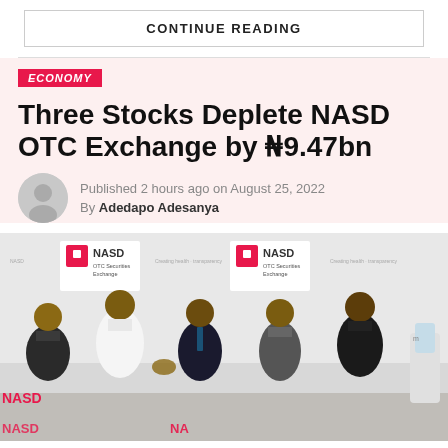CONTINUE READING
ECONOMY
Three Stocks Deplete NASD OTC Exchange by ₦9.47bn
Published 2 hours ago on August 25, 2022
By Adedapo Adesanya
[Figure (photo): Five men posing in front of NASD OTC Securities Exchange branded backdrop, shaking hands in a group photo.]